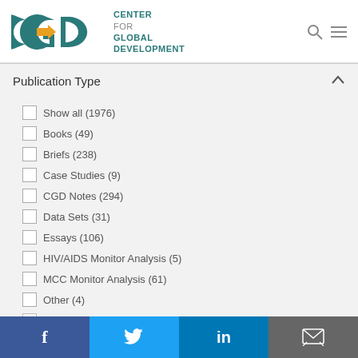[Figure (logo): Center for Global Development (CGD) logo with teal letters and gold arrow]
Publication Type
Show all (1976)
Books (49)
Briefs (238)
Case Studies (9)
CGD Notes (294)
Data Sets (31)
Essays (106)
HIV/AIDS Monitor Analysis (5)
MCC Monitor Analysis (61)
Other (4)
Policy Memos and Open Letters (24)
f  Twitter  in  Email